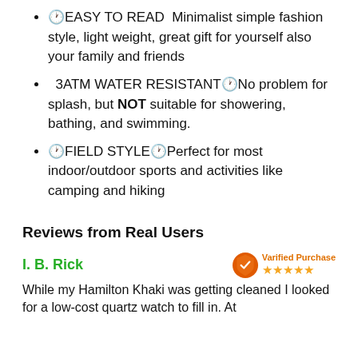🕐EASY TO READ  Minimalist simple fashion style, light weight, great gift for yourself also your family and friends
3ATM WATER RESISTANT🕐No problem for splash, but NOT suitable for showering, bathing, and swimming.
🕐FIELD STYLE🕐Perfect for most indoor/outdoor sports and activities like camping and hiking
Reviews from Real Users
I. B. Rick
Varified Purchase ★★★★★
While my Hamilton Khaki was getting cleaned I looked for a low-cost quartz watch to fill in. At